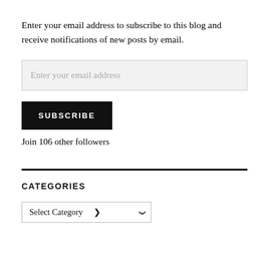Enter your email address to subscribe to this blog and receive notifications of new posts by email.
[Figure (screenshot): Email input field with placeholder text 'Enter your email address']
[Figure (screenshot): Black SUBSCRIBE button]
Join 106 other followers
CATEGORIES
[Figure (screenshot): Select Category dropdown]